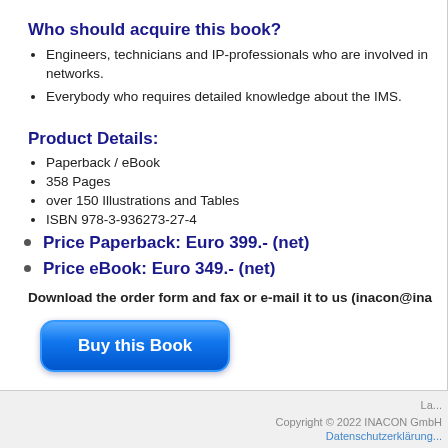Who should acquire this book?
Engineers, technicians and IP-professionals who are involved in networks.
Everybody who requires detailed knowledge about the IMS.
Product Details:
Paperback / eBook
358 Pages
over 150 Illustrations and Tables
ISBN 978-3-936273-27-4
Price Paperback: Euro 399.- (net)
Price eBook: Euro 349.- (net)
Download the order form and fax or e-mail it to us (inacon@ina...
[Figure (other): Blue rounded rectangle button labeled 'Buy this Book']
La... Copyright © 2022 INACON GmbH Datenschutzerklärung...